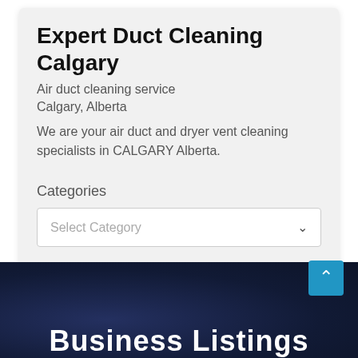Expert Duct Cleaning Calgary
Air duct cleaning service
Calgary, Alberta
We are your air duct and dryer vent cleaning specialists in CALGARY Alberta.
Categories
Select Category
Business Listings